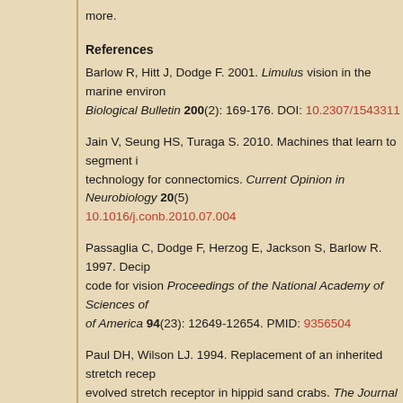more.
References
Barlow R, Hitt J, Dodge F. 2001. Limulus vision in the marine environment. Biological Bulletin 200(2): 169-176. DOI: 10.2307/1543311
Jain V, Seung HS, Turaga S. 2010. Machines that learn to segment images: a crucial technology for connectomics. Current Opinion in Neurobiology 20(5): 10.1016/j.conb.2010.07.004
Passaglia C, Dodge F, Herzog E, Jackson S, Barlow R. 1997. Deciphering a neural code for vision Proceedings of the National Academy of Sciences of America 94(23): 12649-12654. PMID: 9356504
Paul DH, Wilson LJ. 1994. Replacement of an inherited stretch receptor by a newly evolved stretch receptor in hippid sand crabs. The Journal of Comparative Neurology 350(1): 150-160. DOI: 10.1002/cne.903500111
External links
Rockstars of neuroscience (and their fans) turn out to debate the future